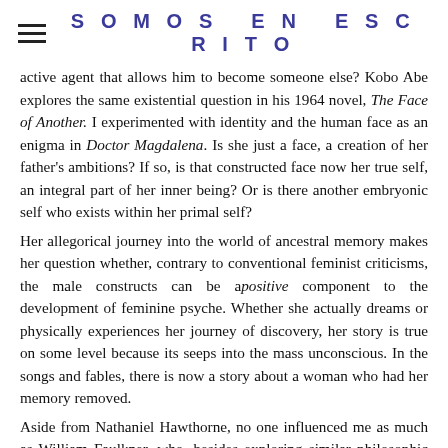SOMOS EN ESCRITO
active agent that allows him to become someone else? Kobo Abe explores the same existential question in his 1964 novel, The Face of Another. I experimented with identity and the human face as an enigma in Doctor Magdalena. Is she just a face, a creation of her father's ambitions? If so, is that constructed face now her true self, an integral part of her inner being? Or is there another embryonic self who exists within her primal self?
Her allegorical journey into the world of ancestral memory makes her question whether, contrary to conventional feminist criticisms, the male constructs can be apositive component to the development of feminine psyche. Whether she actually dreams or physically experiences her journey of discovery, her story is true on some level because its seeps into the mass unconscious. In the songs and fables, there is now a story about a woman who had her memory removed.
Aside from Nathaniel Hawthorne, no one influenced me as much as William Faulkner, who, besides exploring similar philosophic themes as Hawthorne, revealed a writing style that could be